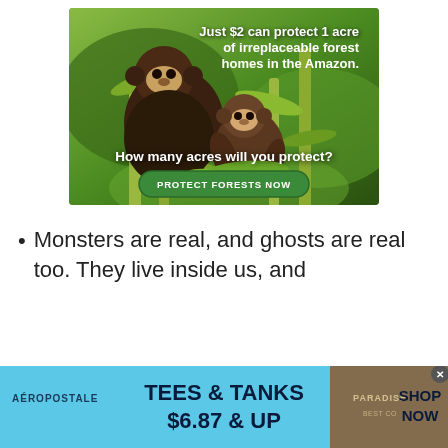[Figure (photo): Advertisement banner featuring two monkeys (capuchins) on bamboo branches in the Amazon rainforest. Text overlay reads: 'Just $2 can protect 1 acre of irreplaceable forest homes in the Amazon.' and 'How many acres will you protect?' with a green button 'PROTECT FORESTS NOW'.]
Monsters are real, and ghosts are real too. They live inside us, and
[Figure (photo): Aéropostale advertisement banner at bottom: 'TEES & TANKS $6.87 & UP SHOP NOW' with a photo of clothing and the Aéropostale logo.]